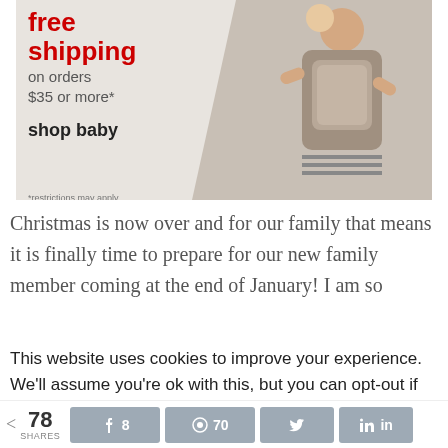[Figure (illustration): Advertisement banner for Target or similar retailer showing 'free shipping on orders $35 or more* shop baby *restrictions may apply' with a photo of a woman carrying a baby in a carrier on the right side]
Christmas is now over and for our family that means it is finally time to prepare for our new family member coming at the end of January! I am so excited to finally have another girl joining our
This website uses cookies to improve your experience. We'll assume you're ok with this, but you can opt-out if you wish.
< 78 SHARES   [Facebook] 8   [Pinterest] 70   [Twitter]   [LinkedIn]